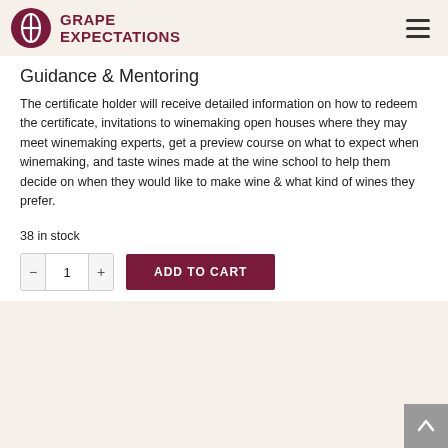GRAPE EXPECTATIONS
Guidance & Mentoring
The certificate holder will receive detailed information on how to redeem the certificate, invitations to winemaking open houses where they may meet winemaking experts, get a preview course on what to expect when winemaking, and taste wines made at the wine school to help them decide on when they would like to make wine & what kind of wines they prefer.
38 in stock
ADD TO CART